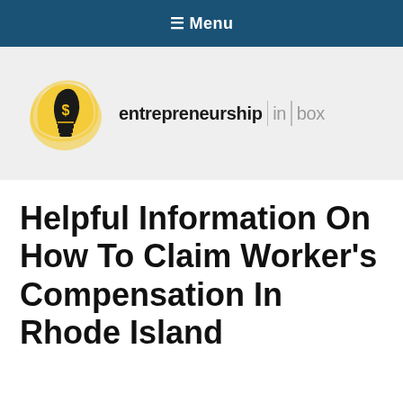≡ Menu
[Figure (logo): Entrepreneurship in a Box logo: yellow lightbulb with dollar sign illustration next to the text 'entrepreneurship in a box' with vertical dividers between 'in' and 'a']
Helpful Information On How To Claim Worker's Compensation In Rhode Island